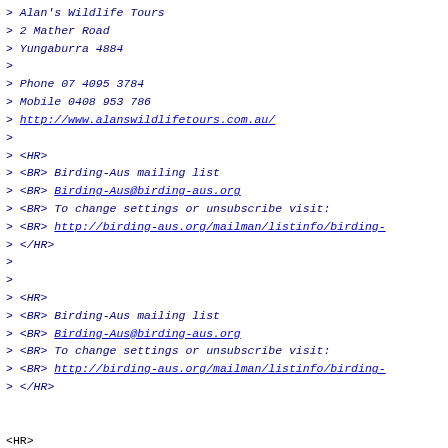> Alan's Wildlife Tours
> 2 Mather Road
> Yungaburra 4884
>
> Phone 07 4095 3784
> Mobile 0408 953 786
> http://www.alanswildlifetours.com.au/
>
> <HR>
> <BR> Birding-Aus mailing list
> <BR> Birding-Aus@birding-aus.org
> <BR> To change settings or unsubscribe visit:
> <BR> http://birding-aus.org/mailman/listinfo/birding-
> </HR>
>
>
> <HR>
> <BR> Birding-Aus mailing list
> <BR> Birding-Aus@birding-aus.org
> <BR> To change settings or unsubscribe visit:
> <BR> http://birding-aus.org/mailman/listinfo/birding-
> </HR>

<HR>
<BR> Birding-Aus mailing list
<BR> Birding-Aus@birding-aus.org
<BR> To change settings or unsubscribe visit:
<BR> http://birding-aus.org/mailman/listinfo/birding-au
</HR>